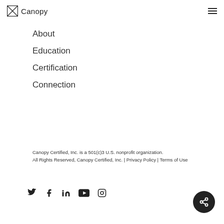Canopy
About
Education
Certification
Connection
Canopy Certified, Inc. is a 501(c)3 U.S. nonprofit organization.
All Rights Reserved, Canopy Certified, Inc. | Privacy Policy | Terms of Use
[Figure (other): Social media icons: Twitter, Facebook, LinkedIn, YouTube, Instagram]